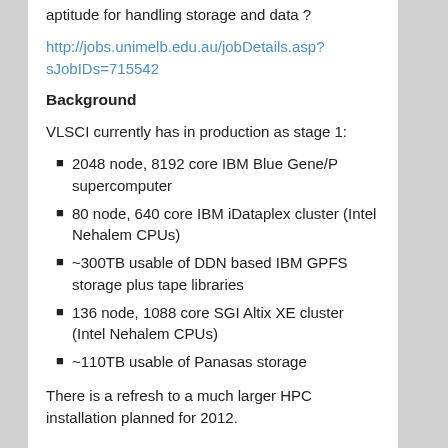aptitude for handling storage and data ?
http://jobs.unimelb.edu.au/jobDetails.asp?sJobIDs=715542
Background
VLSCI currently has in production as stage 1:
2048 node, 8192 core IBM Blue Gene/P supercomputer
80 node, 640 core IBM iDataplex cluster (Intel Nehalem CPUs)
~300TB usable of DDN based IBM GPFS storage plus tape libraries
136 node, 1088 core SGI Altix XE cluster (Intel Nehalem CPUs)
~110TB usable of Panasas storage
There is a refresh to a much larger HPC installation planned for 2012.